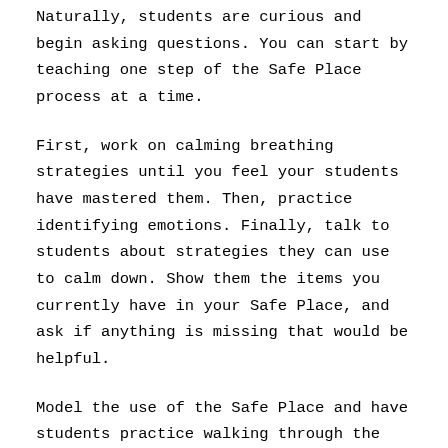Naturally, students are curious and begin asking questions. You can start by teaching one step of the Safe Place process at a time.
First, work on calming breathing strategies until you feel your students have mastered them. Then, practice identifying emotions. Finally, talk to students about strategies they can use to calm down. Show them the items you currently have in your Safe Place, and ask if anything is missing that would be helpful.
Model the use of the Safe Place and have students practice walking through the three steps. When you do so, students are more